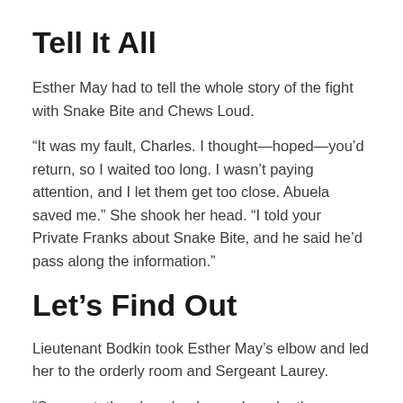Tell It All
Esther May had to tell the whole story of the fight with Snake Bite and Chews Loud.
“It was my fault, Charles. I thought—hoped—you’d return, so I waited too long. I wasn’t paying attention, and I let them get too close. Abuela saved me.” She shook her head. “I told your Private Franks about Snake Bite, and he said he’d pass along the information.”
Let’s Find Out
Lieutenant Bodkin took Esther May’s elbow and led her to the orderly room and Sergeant Laurey.
“Sergeant, there’s a dead man down by the sycamore tree.”